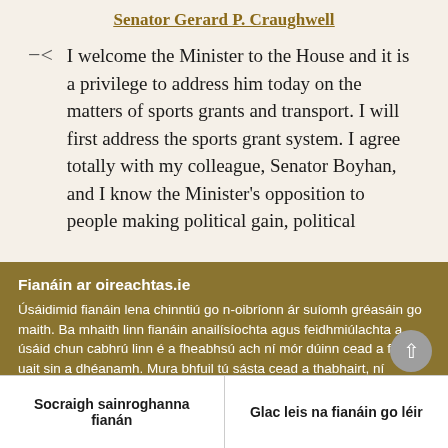Senator Gerard P. Craughwell
I welcome the Minister to the House and it is a privilege to address him today on the matters of sports grants and transport. I will first address the sports grant system. I agree totally with my colleague, Senator Boyhan, and I know the Minister's opposition to people making political gain, political
Fianáin ar oireachtas.ie
Úsáidimid fianáin lena chinntiú go n-oibríonn ár suíomh gréasáin go maith. Ba mhaith linn fianáin anailísíochta agus feidhmiúlachta a úsáid chun cabhrú linn é a fheabhsú ach ní mór dúinn cead a fháil uait sin a dhéanamh. Mura bhfuil tú sásta cead a thabhairt, ní úsáidfear ach fianáin riachtanacha. Léigh tuileadh faoinár bhfianáin
Socraigh sainroghanna fianán
Glac leis na fianáin go léir